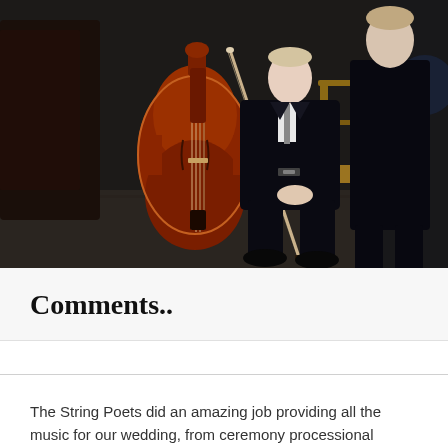[Figure (photo): Two musicians in black suits seated, one holding a large cello with a bow leaning against it, photographed in a dark indoor setting]
Comments..
The String Poets did an amazing job providing all the music for our wedding, from ceremony processional